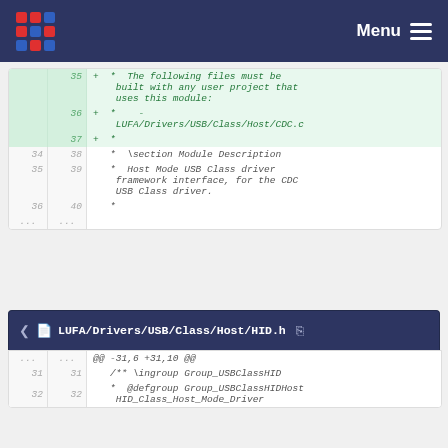Menu
| old_ln | new_ln | code |
| --- | --- | --- |
|  | 35 | + *  The following files must be built with any user project that uses this module: |
|  | 36 | + *    - LUFA/Drivers/USB/Class/Host/CDC.c |
|  | 37 | + * |
| 34 | 38 |    *  \section Module Description |
| 35 | 39 |    *  Host Mode USB Class driver framework interface, for the CDC USB Class driver. |
| 36 | 40 |    * |
| ... | ... |  |
LUFA/Drivers/USB/Class/Host/HID.h
| old_ln | new_ln | code |
| --- | --- | --- |
| ... | ... | @@ -31,6 +31,10 @@ |
| 31 | 31 | /** \ingroup Group_USBClassHID |
| 32 | 32 |   * @defgroup Group_USBClassHIDHost |
|  |  |   HID_Class_Host_Mode_Driver |